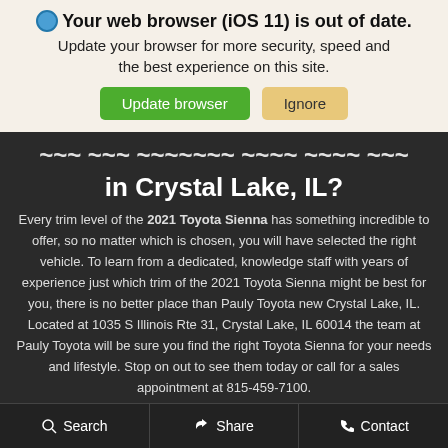🌐 Your web browser (iOS 11) is out of date. Update your browser for more security, speed and the best experience on this site.
in Crystal Lake, IL?
Every trim level of the 2021 Toyota Sienna has something incredible to offer, so no matter which is chosen, you will have selected the right vehicle. To learn from a dedicated, knowledge staff with years of experience just which trim of the 2021 Toyota Sienna might be best for you, there is no better place than Pauly Toyota new Crystal Lake, IL. Located at 1035 S Illinois Rte 31, Crystal Lake, IL 60014 the team at Pauly Toyota will be sure you find the right Toyota Sienna for your needs and lifestyle. Stop on out to see them today or call for a sales appointment at 815-459-7100.
Search   Share   Contact